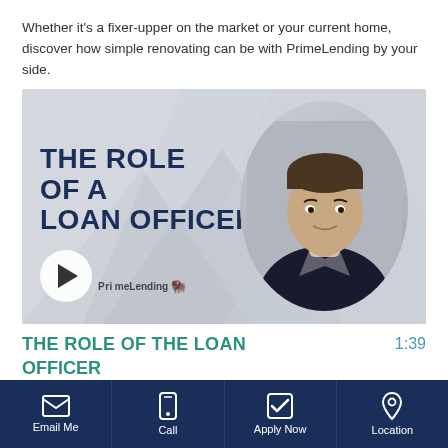Whether it's a fixer-upper on the market or your current home, discover how simple renovating can be with PrimeLending by your side.
[Figure (screenshot): Video thumbnail showing 'THE ROLE OF A LOAN OFFICER' text in dark navy on a gray background, with a circular portrait photo of a young man in a dark polo shirt on the right, a PrimeLending logo in the lower left, and a white play button circle at the bottom left.]
THE ROLE OF THE LOAN OFFICER
1:39
Email Me   Call   Apply Now   Location